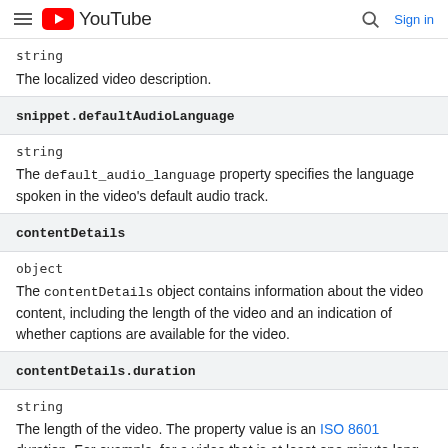YouTube
string
The localized video description.
snippet.defaultAudioLanguage
string
The default_audio_language property specifies the language spoken in the video's default audio track.
contentDetails
object
The contentDetails object contains information about the video content, including the length of the video and an indication of whether captions are available for the video.
contentDetails.duration
string
The length of the video. The property value is an ISO 8601 duration. For example, for a video that is at least one minute long and less than one hour long, the duration is in the format